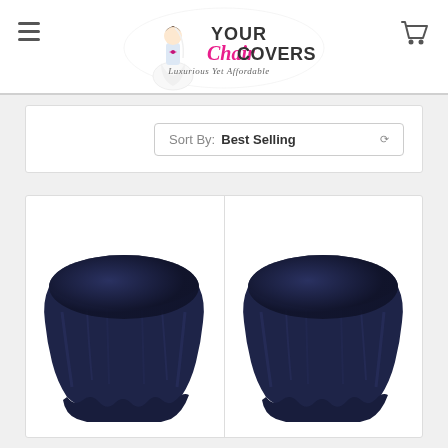[Figure (logo): Your Chair Covers logo with bride illustration and tagline 'Luxurious Yet Affordable']
Sort By: Best Selling
[Figure (photo): Navy blue round tablecloth on round table - left product]
[Figure (photo): Navy blue round tablecloth on round table - right product]